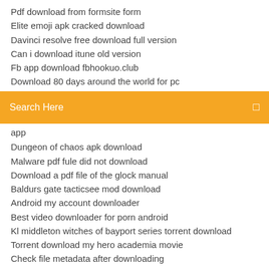Pdf download from formsite form
Elite emoji apk cracked download
Davinci resolve free download full version
Can i download itune old version
Fb app download fbhookuo.club
Download 80 days around the world for pc
[Figure (screenshot): Orange search bar with text 'Search Here' and a search icon on the right]
app
Dungeon of chaos apk download
Malware pdf fule did not download
Download a pdf file of the glock manual
Baldurs gate tacticsee mod download
Android my account downloader
Best video downloader for porn android
Kl middleton witches of bayport series torrent download
Torrent download my hero academia movie
Check file metadata after downloading
Minecraft download gratis apk